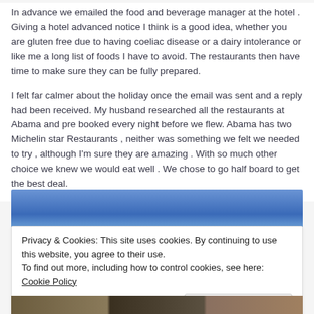In advance we emailed the food and beverage manager at the hotel . Giving a hotel advanced notice I think is a good idea, whether you are gluten free due to having coeliac disease or a dairy intolerance or like me a long list of foods I have to avoid. The restaurants then have time to make sure they can be fully prepared.
I felt far calmer about the holiday once the email was sent and a reply had been received. My husband researched all the restaurants at Abama and pre booked every night before we flew. Abama has two Michelin star Restaurants , neither was something we felt we needed to try , although I'm sure they are amazing . With so much other choice we knew we would eat well . We chose to go half board to get the best deal.
[Figure (photo): Photograph showing a blue sky scene, likely outdoor hotel or resort area]
Privacy & Cookies: This site uses cookies. By continuing to use this website, you agree to their use.
To find out more, including how to control cookies, see here: Cookie Policy
[Figure (photo): Bottom strip showing outdoor vegetation/landscape photo]